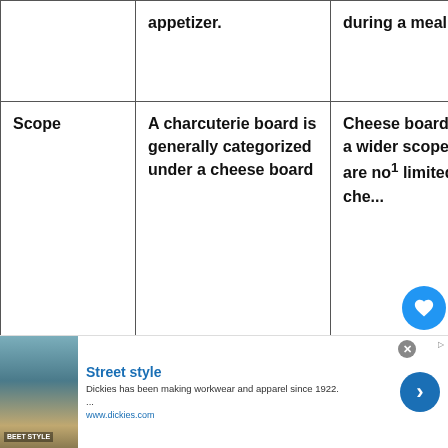|  | Charcuterie Board | Cheese Board |
| --- | --- | --- |
|  | appetizer. | during a meal |
| Scope | A charcuterie board is generally categorized under a cheese board | Cheese boards have a wider scope as they are not limited to che... |